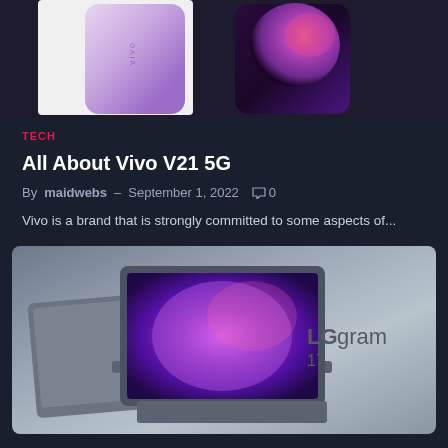[Figure (photo): Top portion of Vivo V21 5G smartphone product image showing two phones - one with lavender/purple gradient back and one with dark screen showing colorful swirl]
TECH
All About Vivo V21 5G
By maidwebs – September 1, 2022  0
Vivo is a brand that is strongly committed to some aspects of...
[Figure (photo): LG gram 17 laptop product image showing two laptops - one from the back in gray and one open displaying a purple swirl wallpaper, with LG gram 17 branding on the right side]